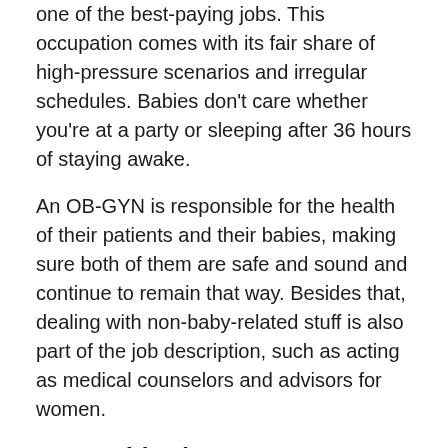one of the best-paying jobs. This occupation comes with its fair share of high-pressure scenarios and irregular schedules. Babies don't care whether you're at a party or sleeping after 36 hours of staying awake.
An OB-GYN is responsible for the health of their patients and their babies, making sure both of them are safe and sound and continue to remain that way. Besides that, dealing with non-baby-related stuff is also part of the job description, such as acting as medical counselors and advisors for women.
5. Psychiatrist
Occupational employment statistics from the